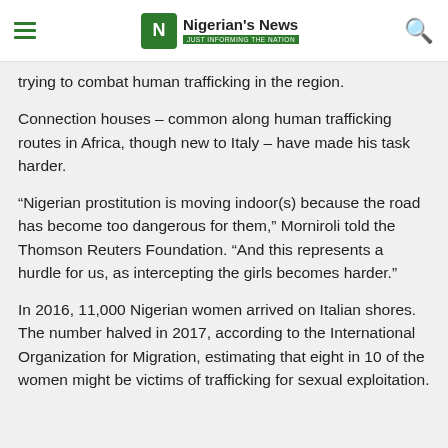Nigerian's News — JUST INFORMING THE NATION
trying to combat human trafficking in the region.
Connection houses – common along human trafficking routes in Africa, though new to Italy – have made his task harder.
“Nigerian prostitution is moving indoor(s) because the road has become too dangerous for them,” Morniroli told the Thomson Reuters Foundation. “And this represents a hurdle for us, as intercepting the girls becomes harder.”
In 2016, 11,000 Nigerian women arrived on Italian shores. The number halved in 2017, according to the International Organization for Migration, estimating that eight in 10 of the women might be victims of trafficking for sexual exploitation.